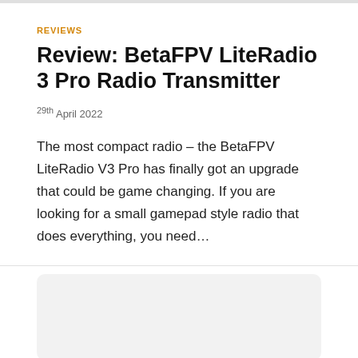REVIEWS
Review: BetaFPV LiteRadio 3 Pro Radio Transmitter
29th April 2022
The most compact radio – the BetaFPV LiteRadio V3 Pro has finally got an upgrade that could be game changing. If you are looking for a small gamepad style radio that does everything, you need…
[Figure (other): Gray placeholder card at the bottom of the page]